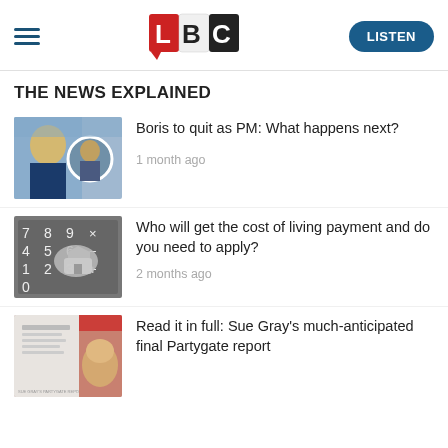LBC — LISTEN
THE NEWS EXPLAINED
[Figure (photo): Boris Johnson and another man photo thumbnail]
Boris to quit as PM: What happens next?
1 month ago
[Figure (photo): Calculator with house key thumbnail]
Who will get the cost of living payment and do you need to apply?
2 months ago
[Figure (photo): Sue Gray report thumbnail with Boris Johnson]
Read it in full: Sue Gray's much-anticipated final Partygate report